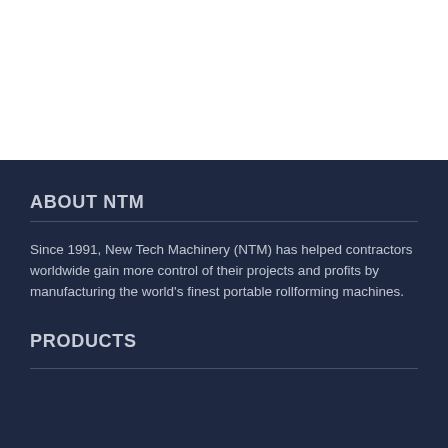ABOUT NTM
Since 1991, New Tech Machinery (NTM) has helped contractors worldwide gain more control of their projects and profits by manufacturing the world's finest portable rollforming machines.
PRODUCTS